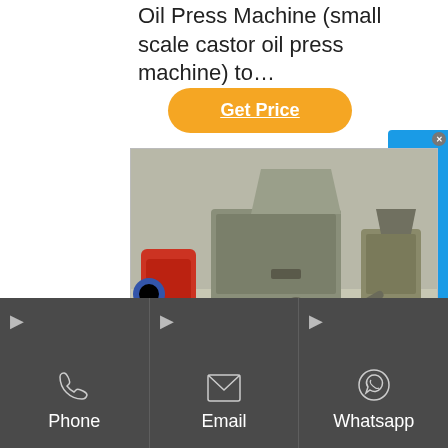Oil Press Machine (small scale castor oil press machine) to…
Get Price
[Figure (photo): Industrial castor oil press machine in a warehouse setting, showing grey machinery with red and blue components and metal trays]
Castor Oil Press Machine, Castor Oil Expell…
Phone
Email
Whatsapp